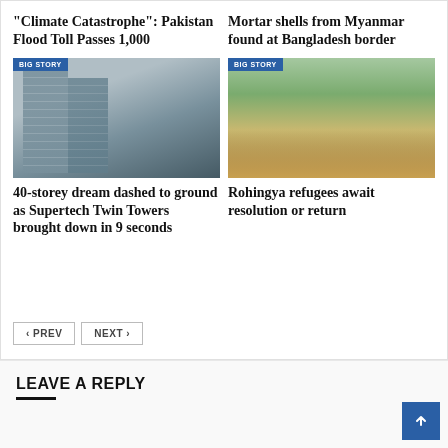“Climate Catastrophe”: Pakistan Flood Toll Passes 1,000
Mortar shells from Myanmar found at Bangladesh border
[Figure (photo): BIG STORY badge over photo of tall buildings being demolished]
[Figure (photo): BIG STORY badge over photo of Rohingya refugee camp with people walking]
40-storey dream dashed to ground as Supertech Twin Towers brought down in 9 seconds
Rohingya refugees await resolution or return
‹ PREV
NEXT ›
LEAVE A REPLY